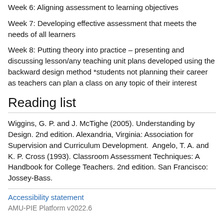Week 6: Aligning assessment to learning objectives
Week 7: Developing effective assessment that meets the needs of all learners
Week 8: Putting theory into practice – presenting and discussing lesson/any teaching unit plans developed using the backward design method *students not planning their career as teachers can plan a class on any topic of their interest
Reading list
Wiggins, G. P. and J. McTighe (2005). Understanding by Design. 2nd edition. Alexandria, Virginia: Association for Supervision and Curriculum Development.  Angelo, T. A. and K. P. Cross (1993). Classroom Assessment Techniques: A Handbook for College Teachers. 2nd edition. San Francisco: Jossey-Bass.
Accessibility statement
AMU-PIE Platform v2022.6